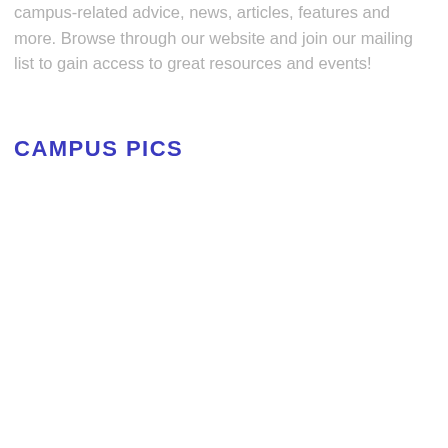campus-related advice, news, articles, features and more. Browse through our website and join our mailing list to gain access to great resources and events!
CAMPUS PICS